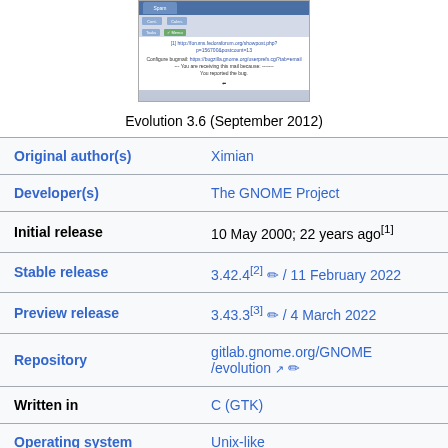[Figure (screenshot): Screenshot of Evolution 3.6 email client showing inbox and email content]
Evolution 3.6 (September 2012)
| Field | Value |
| --- | --- |
| Original author(s) | Ximian |
| Developer(s) | The GNOME Project |
| Initial release | 10 May 2000; 22 years ago[1] |
| Stable release | 3.42.4[2] ✏ / 11 February 2022 |
| Preview release | 3.43.3[3] ✏ / 4 March 2022 |
| Repository | gitlab.gnome.org/GNOME/evolution ↗ ✏ |
| Written in | C (GTK) |
| Operating system | Unix-like |